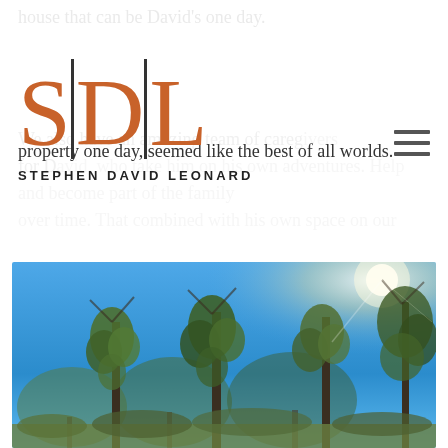house that can be David's one day.
SDL — STEPHEN DAVID LEONARD
We also have an amazing team of caregivers for David, who take him on his own adventures. Help and become part of the family over time. That combined with his own space on our property one day, seemed like the best of all worlds.
[Figure (photo): Outdoor photograph showing tall eucalyptus trees against a bright blue sky, with sunlight visible through the upper right of the frame.]